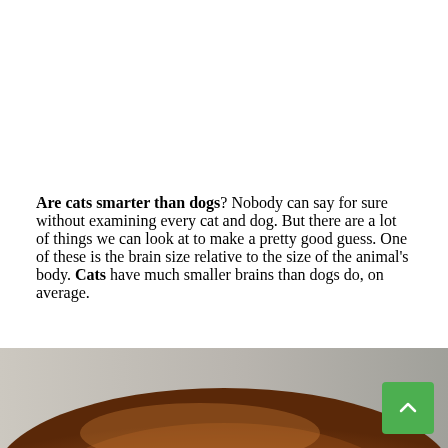Are cats smarter than dogs? Nobody can say for sure without examining every cat and dog. But there are a lot of things we can look at to make a pretty good guess. One of these is the brain size relative to the size of the animal's body. Cats have much smaller brains than dogs do, on average.
[Figure (photo): Close-up photo of an orange/ginger cat, showing the top of its fur-covered head and back, with a blurred light grey background. A green scroll-to-top button with an upward arrow is overlaid in the bottom-right corner.]